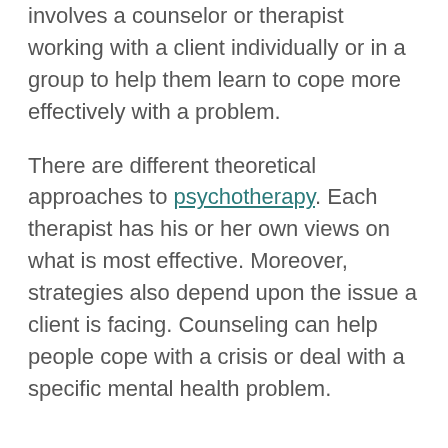involves a counselor or therapist working with a client individually or in a group to help them learn to cope more effectively with a problem.
There are different theoretical approaches to psychotherapy. Each therapist has his or her own views on what is most effective. Moreover, strategies also depend upon the issue a client is facing. Counseling can help people cope with a crisis or deal with a specific mental health problem.